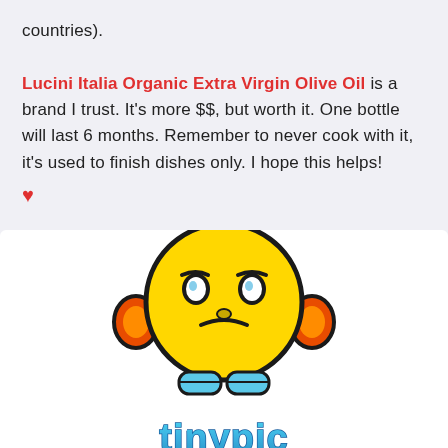countries). Lucini Italia Organic Extra Virgin Olive Oil is a brand I trust. It's more $$, but worth it. One bottle will last 6 months. Remember to never cook with it, it's used to finish dishes only. I hope this helps! ❤
[Figure (illustration): A cartoon sad face emoji character with yellow round head, orange ear-like appendages, blue feet/shoes, frowning expression with worried eyes. Below is the 'tinypic' logo in colorful bubbly letters.]